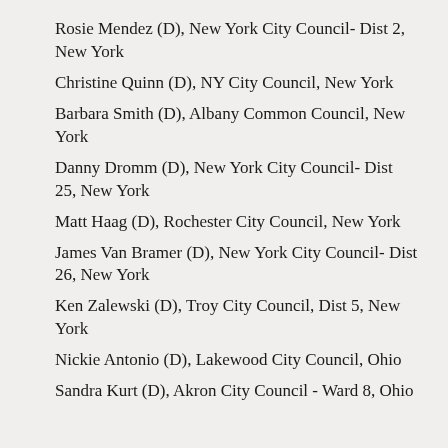Rosie Mendez (D), New York City Council- Dist 2, New York
Christine Quinn (D), NY City Council, New York
Barbara Smith (D), Albany Common Council, New York
Danny Dromm (D), New York City Council- Dist 25, New York
Matt Haag (D), Rochester City Council, New York
James Van Bramer (D), New York City Council- Dist 26, New York
Ken Zalewski (D), Troy City Council, Dist 5, New York
Nickie Antonio (D), Lakewood City Council, Ohio
Sandra Kurt (D), Akron City Council - Ward 8, Ohio